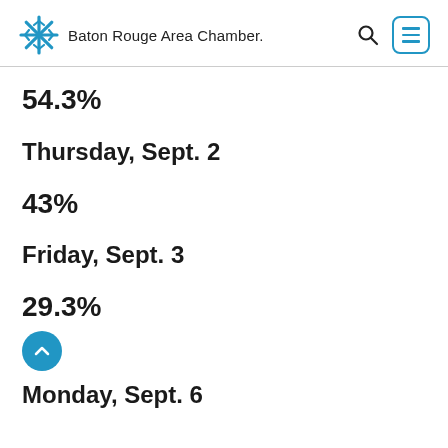Baton Rouge Area Chamber.
54.3%
Thursday, Sept. 2
43%
Friday, Sept. 3
29.3%
Monday, Sept. 6